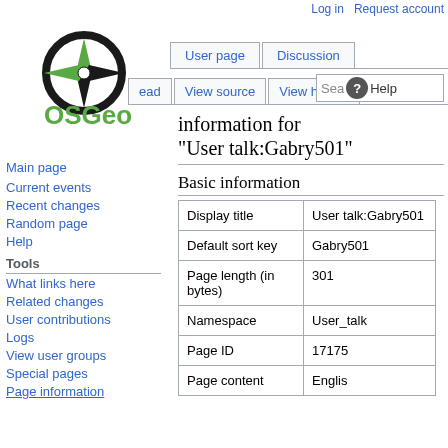Log in   Request account
[Figure (logo): OSGeo logo with compass rose icon and green text 'OSGeo']
User page   Discussion
Read   View source   View history   Search   Help
Information for "User talk:Gabry501"
Main page
Current events
Recent changes
Random page
Help
Tools
What links here
Related changes
User contributions
Logs
View user groups
Special pages
Page information
Basic information
|  |  |
| --- | --- |
| Display title | User talk:Gabry501 |
| Default sort key | Gabry501 |
| Page length (in bytes) | 301 |
| Namespace | User_talk |
| Page ID | 17175 |
| Page content | English |